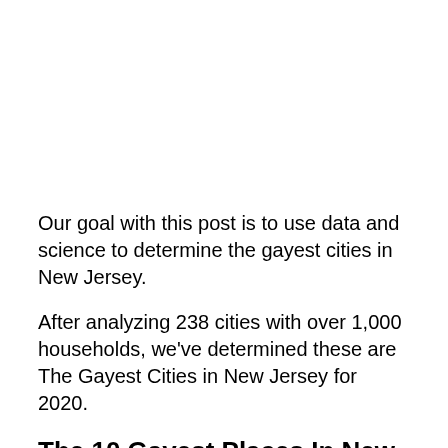Our goal with this post is to use data and science to determine the gayest cities in New Jersey.
After analyzing 238 cities with over 1,000 households, we've determined these are The Gayest Cities in New Jersey for 2020.
The 10 Gayest Places In New Jersey For 2020